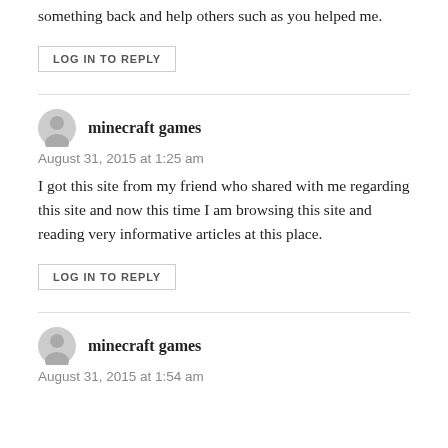something back and help others such as you helped me.
LOG IN TO REPLY
minecraft games
August 31, 2015 at 1:25 am
I got this site from my friend who shared with me regarding this site and now this time I am browsing this site and reading very informative articles at this place.
LOG IN TO REPLY
minecraft games
August 31, 2015 at 1:54 am